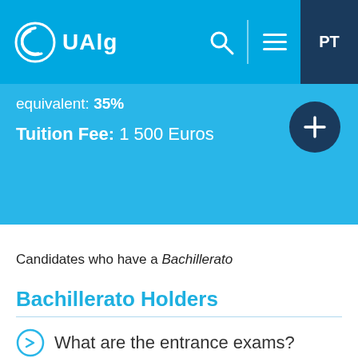UAlg
equivalent: 35%
Tuition Fee: 1 500 Euros
Candidates who have a Bachillerato
Bachillerato Holders
What are the entrance exams?